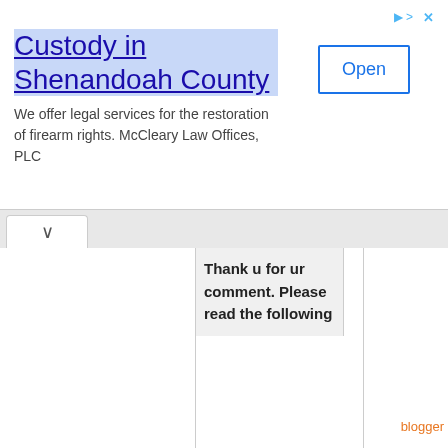[Figure (screenshot): Web advertisement banner for 'Custody in Shenandoah County' legal services by McCleary Law Offices, PLC with an Open button and navigation arrows/close icons]
Thank u for ur comment. Please read the following
[Figure (infographic): Red X close button overlay on the content]
Subscribe by Email Get Free Updates
Enter your Email Address
Subscribe
Don't Forget To Join US Our Community
blogger